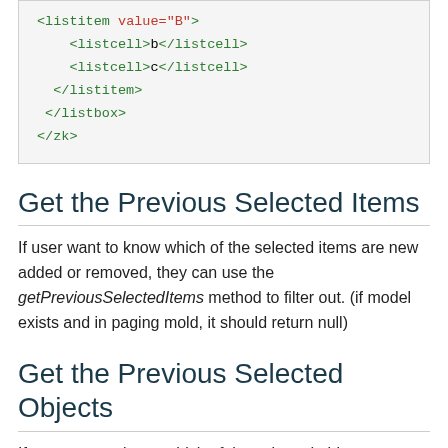[Figure (screenshot): Code block showing XML snippet with listitem value='B', two listcell elements with text 'b' and 'c', closing listitem, closing listbox, and closing zk tags]
Get the Previous Selected Items
If user want to know which of the selected items are new added or removed, they can use the getPreviousSelectedItems method to filter out. (if model exists and in paging mold, it should return null)
Get the Previous Selected Objects
If user want to know which of the selected objects are new added or removed, they can use the